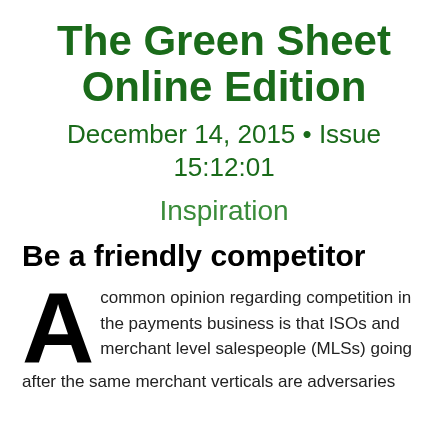The Green Sheet Online Edition
December 14, 2015 • Issue 15:12:01
Inspiration
Be a friendly competitor
A common opinion regarding competition in the payments business is that ISOs and merchant level salespeople (MLSs) going after the same merchant verticals are adversaries